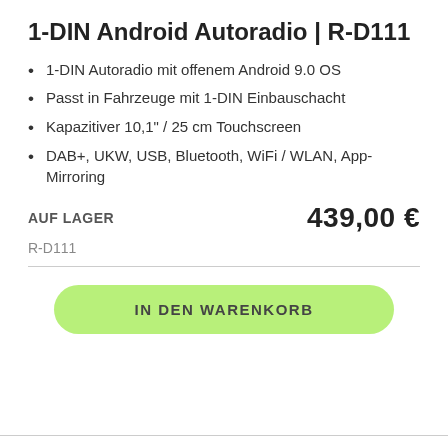1-DIN Android Autoradio | R-D111
1-DIN Autoradio mit offenem Android 9.0 OS
Passt in Fahrzeuge mit 1-DIN Einbauschacht
Kapazitiver 10,1" / 25 cm Touchscreen
DAB+, UKW, USB, Bluetooth, WiFi / WLAN, App-Mirroring
AUF LAGER   439,00 €
R-D111
IN DEN WARENKORB